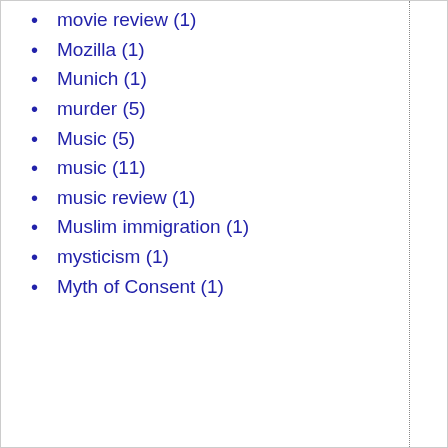movie review (1)
Mozilla (1)
Munich (1)
murder (5)
Music (5)
music (11)
music review (1)
Muslim immigration (1)
mysticism (1)
Myth of Consent (1)